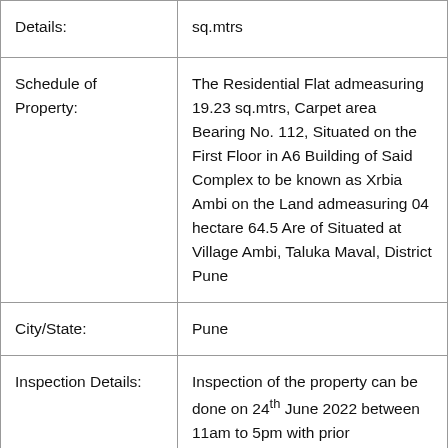| Details: | sq.mtrs |
| Schedule of Property: | The Residential Flat admeasuring 19.23 sq.mtrs, Carpet area Bearing No. 112, Situated on the First Floor in A6 Building of Said Complex to be known as Xrbia Ambi on the Land admeasuring 04 hectare 64.5 Are of Situated at Village Ambi, Taluka Maval, District Pune |
| City/State: | Pune |
| Inspection Details: | Inspection of the property can be done on 24th June 2022 between 11am to 5pm with prior appointment |